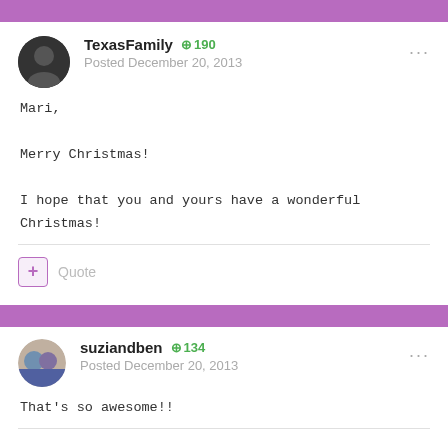TexasFamily +190
Posted December 20, 2013
Mari,

Merry Christmas!

I hope that you and yours have a wonderful Christmas!
Quote
suziandben +134
Posted December 20, 2013
That's so awesome!!